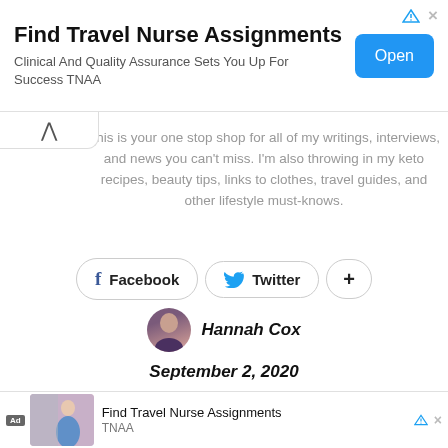[Figure (infographic): Top advertisement banner: Find Travel Nurse Assignments. Clinical And Quality Assurance Sets You Up For Success TNAA. Blue Open button. Ad icons (triangle, X) top right.]
This is your one stop shop for all of my writings, interviews, and news you can't miss. I'm also throwing in my keto recipes, beauty tips, links to clothes, travel guides, and other lifestyle must-knows.
[Figure (infographic): Social media share buttons: Facebook (f icon), Twitter (bird icon), and a plus (+) button, displayed as pill-shaped bordered buttons.]
[Figure (photo): Author avatar: circular profile photo of Hannah Cox]
Hannah Cox
September 2, 2020
[Figure (infographic): Bottom advertisement: Ad label, image of a woman, text: Find Travel Nurse Assignments, TNAA. Ad icons top right.]
[Figure (photo): Bottom photo strip showing two people, one wearing a mask, partially visible.]